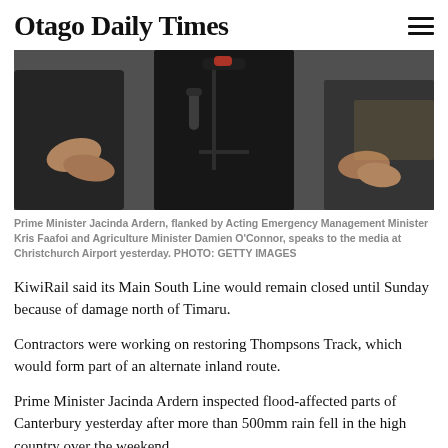Otago Daily Times
[Figure (photo): Press conference scene showing hands and microphones, with a person in a black puffer jacket in the centre, reporters holding microphones. Photo taken at Christchurch Airport.]
Prime Minister Jacinda Ardern, flanked by Acting Emergency Management Minister Kris Faafoi and Agriculture Minister Damien O'Connor, speaks to the media at Christchurch Airport yesterday. PHOTO: GETTY IMAGES
KiwiRail said its Main South Line would remain closed until Sunday because of damage north of Timaru.
Contractors were working on restoring Thompsons Track, which would form part of an alternate inland route.
Prime Minister Jacinda Ardern inspected flood-affected parts of Canterbury yesterday after more than 500mm rain fell in the high country over the weekend.